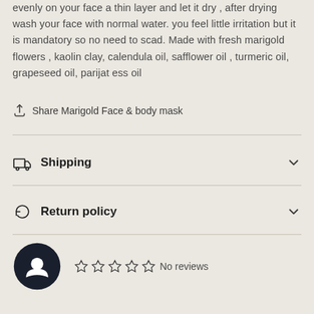evenly on your face a thin layer and let it dry , after drying wash your face with normal water. you feel little irritation but it is mandatory so no need to scad. Made with fresh marigold flowers , kaolin clay, calendula oil, safflower oil , turmeric oil, grapeseed oil, parijat ess oil
Share Marigold Face & body mask
Shipping
Return policy
No reviews